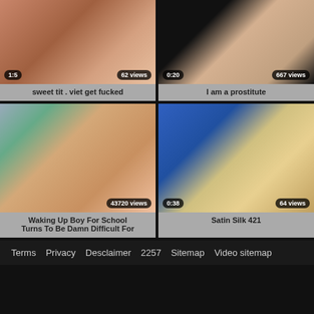[Figure (screenshot): Video thumbnail grid with 4 video cards. Top-left: 'sweet tit . viet get fucked', 1:5 duration, 62 views. Top-right: 'I am a prostitute', 0:20 duration, 667 views. Bottom-left: 'Waking Up Boy For School Turns To Be Damn Difficult For', no duration shown, 43720 views. Bottom-right: 'Satin Silk 421', 0:38 duration, 64 views.]
Terms  Privacy  Desclaimer  2257  Sitemap  Video sitemap